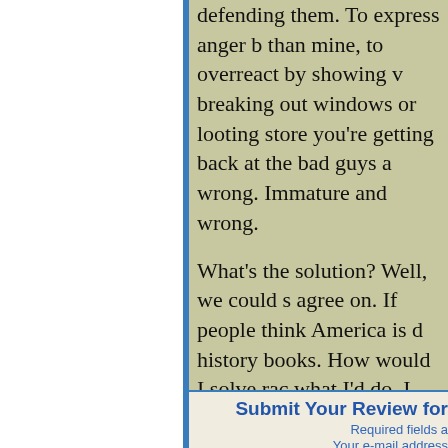defending them. To express anger by doing things worse than mine, to overreact by showing violence, to start breaking out windows or looting stores and thinking you're getting back at the bad guys are all wrong. Immature and wrong.

What's the solution? Well, we could s agree on. If people think America is d history books. How would I solve rac what I'd do. I can only do what I can place to start.

So do I have opinions on things? Yes time to come just what those opinion opinions.
Submit Your Review for
Required fields a
Your e-mail address
Your Name*